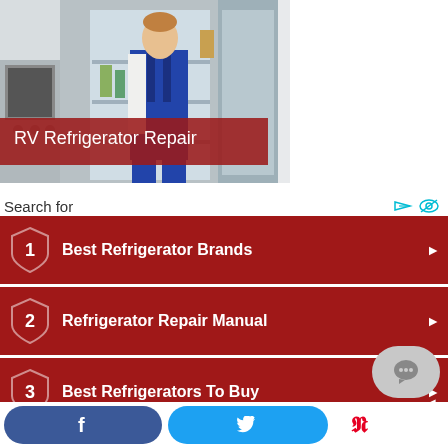[Figure (photo): A repair technician in blue overalls inspecting the inside of an open refrigerator in a kitchen setting.]
RV Refrigerator Repair
Search for
1  Best Refrigerator Brands
2  Refrigerator Repair Manual
3  Best Refrigerators To Buy
4  Top Freezer Refrigerators